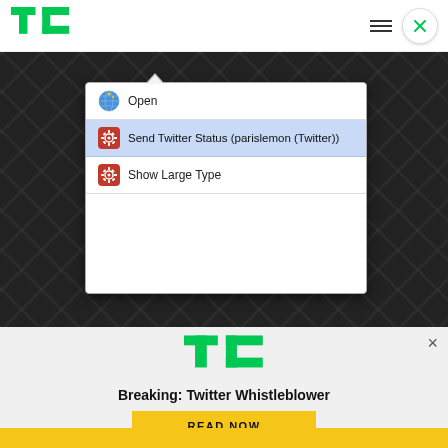TechCrunch
[Figure (screenshot): macOS context menu popup showing options: Open, Send Twitter Status (parislemon (Twitter)), Show Large Type — displayed over a dark diagonal pattern background]
[Figure (logo): TechCrunch TC logo in green]
Breaking: Twitter Whistleblower
READ NOW